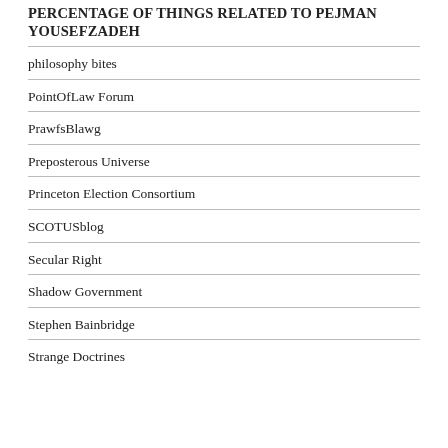PERCENTAGE OF THINGS RELATED TO PEJMAN YOUSEFZADEH
philosophy bites
PointOfLaw Forum
PrawfsBlawg
Preposterous Universe
Princeton Election Consortium
SCOTUSblog
Secular Right
Shadow Government
Stephen Bainbridge
Strange Doctrines